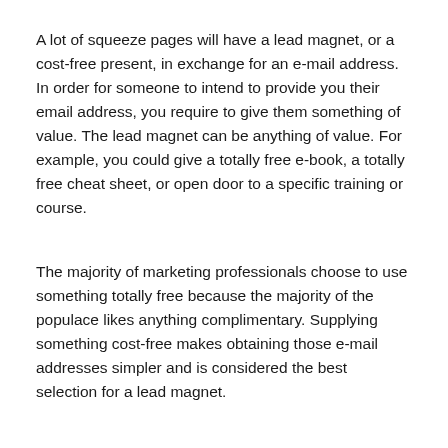A lot of squeeze pages will have a lead magnet, or a cost-free present, in exchange for an e-mail address. In order for someone to intend to provide you their email address, you require to give them something of value. The lead magnet can be anything of value. For example, you could give a totally free e-book, a totally free cheat sheet, or open door to a specific training or course.
The majority of marketing professionals choose to use something totally free because the majority of the populace likes anything complimentary. Supplying something cost-free makes obtaining those e-mail addresses simpler and is considered the best selection for a lead magnet.